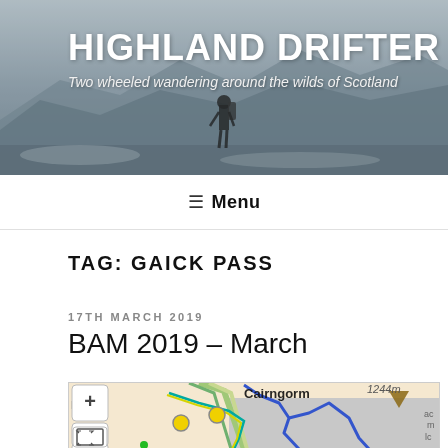HIGHLAND DRIFTER
Two wheeled wandering around the wilds of Scotland
≡ Menu
TAG: GAICK PASS
17TH MARCH 2019
BAM 2019 – March
[Figure (map): Interactive map showing route through Scottish Highlands near Cairngorm (1244m), with yellow waypoint markers, a blue route line, and map controls (+, -, fullscreen). Location labels include Kingussie and Cairngorm.]